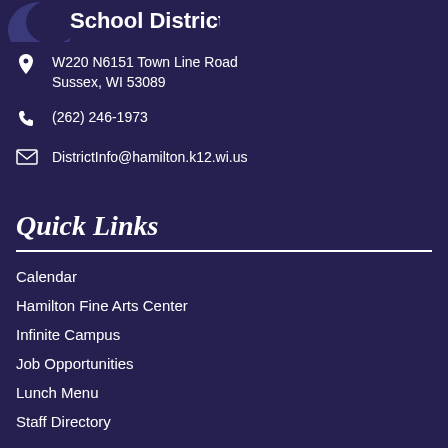[Figure (logo): Hamilton School District logo - partial view showing curved swoosh and text 'School District' in white on dark blue background]
W220 N6151 Town Line Road
Sussex, WI 53089
(262) 246-1973
DistrictInfo@hamilton.k12.wi.us
Quick Links
Calendar
Hamilton Fine Arts Center
Infinite Campus
Job Opportunities
Lunch Menu
Staff Directory